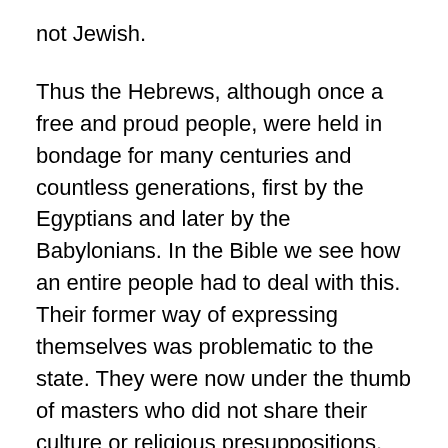not Jewish.
Thus the Hebrews, although once a free and proud people, were held in bondage for many centuries and countless generations, first by the Egyptians and later by the Babylonians. In the Bible we see how an entire people had to deal with this. Their former way of expressing themselves was problematic to the state. They were now under the thumb of masters who did not share their culture or religious presuppositions.
They guarded their identity by adopting a slave mentality; always looking over their shoulders, but still asserting themselves on the sly. The mentality and morality that develops among slaves does not lend itself to overt self-assertion because that would get them into trouble. Instead, they had to learn to create the fewest problems